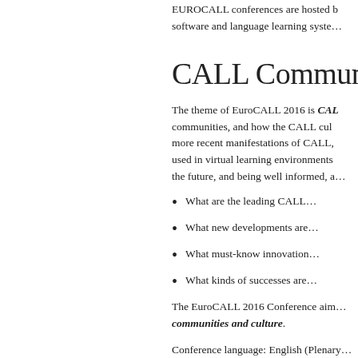EUROCALL conferences are hosted by software and language learning system…
CALL Communitie…
The theme of EuroCALL 2016 is CALL communities, and how the CALL cult… more recent manifestations of CALL, used in virtual learning environments the future, and being well informed, a…
What are the leading CALL…
What new developments are…
What must-know innovation…
What kinds of successes are…
The EuroCALL 2016 Conference aim… communities and culture.
Conference language: English (Plenary…